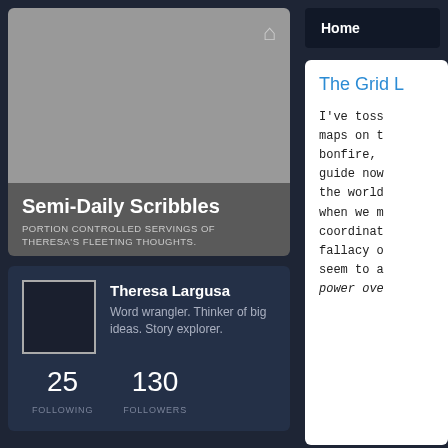[Figure (screenshot): Blog header card with gray image area and home icon, showing blog name and subtitle on dark gray background]
Semi-Daily Scribbles
PORTION CONTROLLED SERVINGS OF THERESA'S FLEETING THOUGHTS.
[Figure (photo): Profile section with square avatar placeholder, name, bio, following and followers counts]
Theresa Largusa
Word wrangler. Thinker of big ideas. Story explorer.
25 FOLLOWING
130 FOLLOWERS
Home
The Grid L
I've toss maps on t bonfire, guide now the world when we m coordinat fallacy o seem to a power ove